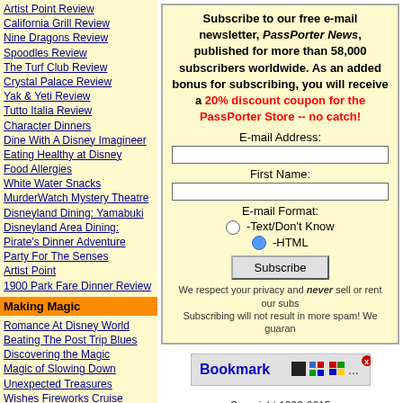Artist Point Review
California Grill Review
Nine Dragons Review
Spoodles Review
The Turf Club Review
Crystal Palace Review
Yak & Yeti Review
Tutto Italia Review
Character Dinners
Dine With A Disney Imagineer
Eating Healthy at Disney
Food Allergies
White Water Snacks
MurderWatch Mystery Theatre
Disneyland Dining: Yamabuki
Disneyland Area Dining: Pirate's Dinner Adventure
Party For The Senses
Artist Point
1900 Park Fare Dinner Review
Making Magic
Romance At Disney World
Beating The Post Trip Blues
Discovering the Magic
Magic of Slowing Down
Unexpected Treasures
Wishes Fireworks Cruise
Backstage Tours
Epcot's Segway Tour
Epcot's International Food & Wine Festival
Taking Great Photos
Taking Great Fireworks Photos
Digital Photo Q & A
Souvenirs on a Budget
Pal Mickey
Birthdays at Disney
Subscribe to our free e-mail newsletter, PassPorter News, published for more than 58,000 subscribers worldwide. As an added bonus for subscribing, you will receive a 20% discount coupon for the PassPorter Store -- no catch!
E-mail Address:
First Name:
E-mail Format:
-Text/Don't Know
-HTML
Subscribe
We respect your privacy and never sell or rent our subscribers' information. Subscribing will not result in more spam! We guarantee it!
Bookmark
Copyright 1999-2015
by PassPorter Travel Press, an imprint of MediaMarx